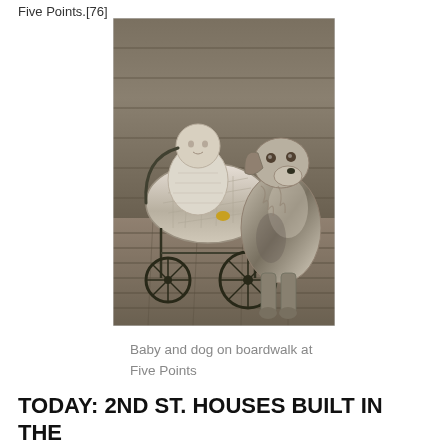Five Points.[76]
[Figure (photo): Sepia-toned historical photograph of a baby sitting in a wicker baby carriage/pram on a wooden boardwalk, with a dog (spaniel-type) sitting beside the carriage. The scene is set outdoors on wooden plank flooring.]
Baby and dog on boardwalk at Five Points
TODAY: 2ND ST. HOUSES BUILT IN  THE